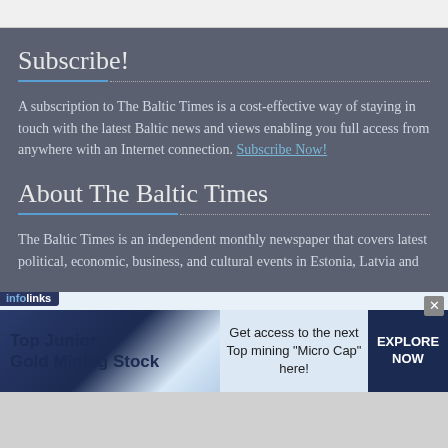Subscribe!
A subscription to The Baltic Times is a cost-effective way of staying in touch with the latest Baltic news and views enabling you full access from anywhere with an Internet connection. Subscribe Now!
About The Baltic Times
The Baltic Times is an independent monthly newspaper that covers latest political, economic, business, and cultural events in Estonia, Latvia and
[Figure (other): infolinks advertisement banner: Top Junior Gold Mining Stock - Get access to the next Top mining "Micro Cap" here! - EXPLORE NOW]